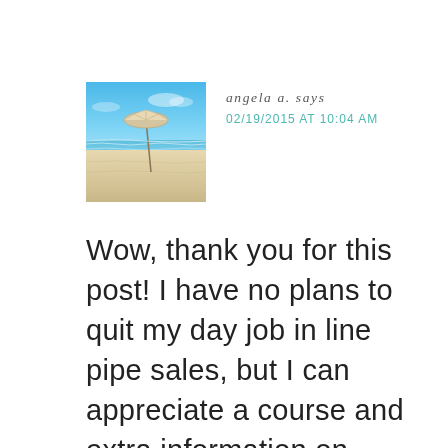[Figure (photo): Beach scene with blue sky and a white beach umbrella on sandy shore with ocean waves]
angela a. says
02/19/2015 AT 10:04 AM
Wow, thank you for this post! I have no plans to quit my day job in line pipe sales, but I can appreciate a course and extra information on graphic design. This has become a hobby for me, something to do when my little guy goes to bed and I